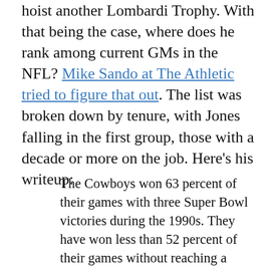hoist another Lombardi Trophy. With that being the case, where does he rank among current GMs in the NFL? Mike Sando at The Athletic tried to figure that out. The list was broken down by tenure, with Jones falling in the first group, those with a decade or more on the job. Here’s his writeup:
The Cowboys won 63 percent of their games with three Super Bowl victories during the 1990s. They have won less than 52 percent of their games without reaching a Super Bowl since then, despite some successes in the draft. Jones earned a spot in the Hall of Fame on the strength of that 1990s success combined with his